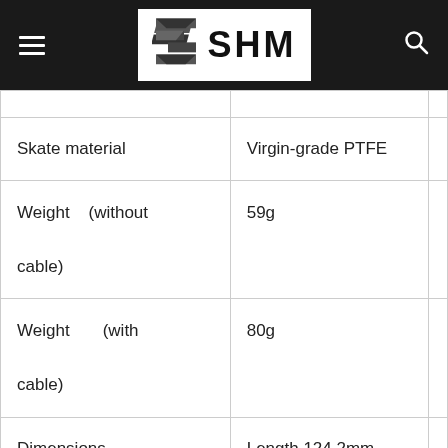SHM
| Property | Value |
| --- | --- |
| Skate material | Virgin-grade PTFE |
| Weight (without cable) | 59g |
| Weight (with cable) | 80g |
| Dimensions | Length 124.2mm |
| Height | 38.2mm |